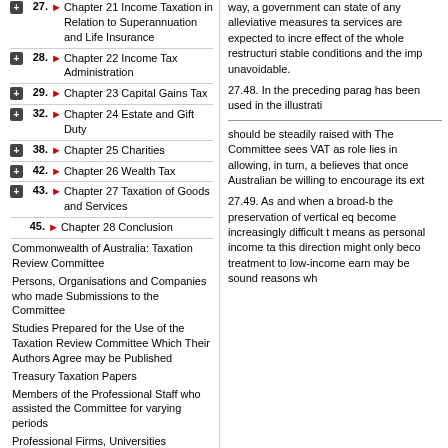27. Chapter 21 Income Taxation in Relation to Superannuation and Life Insurance
28. Chapter 22 Income Tax Administration
29. Chapter 23 Capital Gains Tax
32. Chapter 24 Estate and Gift Duty
38. Chapter 25 Charities
42. Chapter 26 Wealth Tax
43. Chapter 27 Taxation of Goods and Services
45. Chapter 28 Conclusion
Commonwealth of Australia: Taxation Review Committee
Persons, Organisations and Companies who made Submissions to the Committee
Studies Prepared for the Use of the Taxation Review Committee Which Their Authors Agree may be Published
Treasury Taxation Papers
Members of the Professional Staff who assisted the Committee for varying periods
Professional Firms, Universities
way, a government can state of any alleviative measures ta services are expected to incre effect of the whole restructuri stable conditions and the imp unavoidable.
27.48. In the preceding parag has been used in the illustrati
should be steadily raised with The Committee sees VAT as role lies in allowing, in turn, a believes that once Australian be willing to encourage its ext
27.49. As and when a broad-b the preservation of vertical eq become increasingly difficult t means as personal income ta this direction might only beco treatment to low-income earn may be sound reasons wh